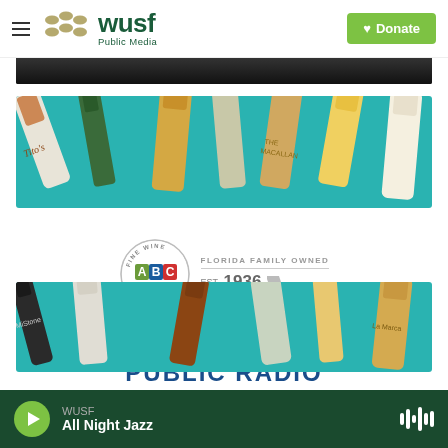WUSF Public Media — Donate
[Figure (screenshot): Partial photo strip at top showing dark background (cropped article image)]
[Figure (photo): ABC Fine Wine & Spirits advertisement banner showing multiple liquor bottles on teal background — top portion]
[Figure (logo): ABC Fine Wine & Spirits logo with circular badge showing A (green), B (blue), C (red) letters, 'FINE WINE & SPIRITS' around edge, and 'FLORIDA FAMILY OWNED EST. 1936' text with Florida state outline]
CELEBRATING PUBLIC RADIO
[Figure (photo): ABC Fine Wine & Spirits advertisement banner showing multiple liquor bottles on teal background — bottom portion]
WUSF — All Night Jazz